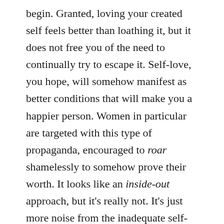begin. Granted, loving your created self feels better than loathing it, but it does not free you of the need to continually try to escape it. Self-love, you hope, will somehow manifest as better conditions that will make you a happier person. Women in particular are targeted with this type of propaganda, encouraged to roar shamelessly to somehow prove their worth. It looks like an inside-out approach, but it's really not. It's just more noise from the inadequate self-image.
The ability to discern the difference between the soul and the self-image is critical to moving the I to its proper spiritual foundation. If you're trying to change yourself to a more spiritual version, you are probably acting amiss. Your soul resides at the purest, easiest most natural level of your being. You don't create it